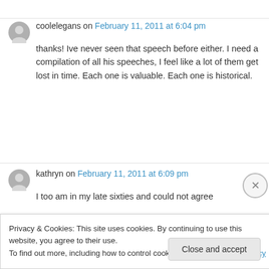coolelegans on February 11, 2011 at 6:04 pm
thanks! Ive never seen that speech before either. I need a compilation of all his speeches, I feel like a lot of them get lost in time. Each one is valuable. Each one is historical.
kathryn on February 11, 2011 at 6:09 pm
I too am in my late sixties and could not agree
Privacy & Cookies: This site uses cookies. By continuing to use this website, you agree to their use.
To find out more, including how to control cookies, see here: Cookie Policy
Close and accept